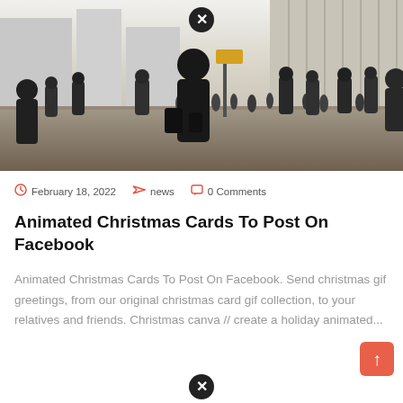[Figure (photo): Black and white photo of a crowd of people walking in a modern urban plaza with tall buildings in the background. Close-up figure in center carrying bags.]
February 18, 2022   news   0 Comments
Animated Christmas Cards To Post On Facebook
Animated Christmas Cards To Post On Facebook. Send christmas gif greetings, from our original christmas card gif collection, to your relatives and friends. Christmas canva // create a holiday animated...